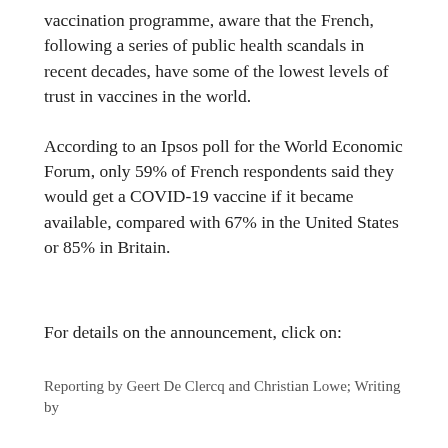vaccination programme, aware that the French, following a series of public health scandals in recent decades, have some of the lowest levels of trust in vaccines in the world.
According to an Ipsos poll for the World Economic Forum, only 59% of French respondents said they would get a COVID-19 vaccine if it became available, compared with 67% in the United States or 85% in Britain.
For details on the announcement, click on:
Reporting by Geert De Clercq and Christian Lowe; Writing by